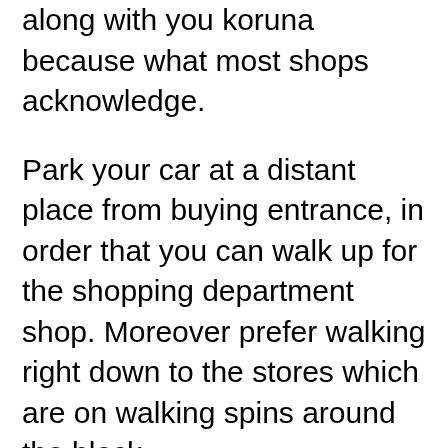along with you koruna because what most shops acknowledge.
Park your car at a distant place from buying entrance, in order that you can walk up for the shopping department shop. Moreover prefer walking right down to the stores which are on walking spins around the block.
Sim Lim Square. Sim Lim is famous for electronic goods and IT accessories. Tourists can enjoy tax-free shopping there. Should you be a gadget fanatics trying to find laptops, MP 3 players, custom-built desktops, LCD monitors & TV, you must visit Sim Lim Rectangle.
████ love clothes and fashion that are greatly based the latest fads and trends and recommendations of sales visitors. You often buy things without trying them out on and learn of this fashion glitches. Try to slow down a little